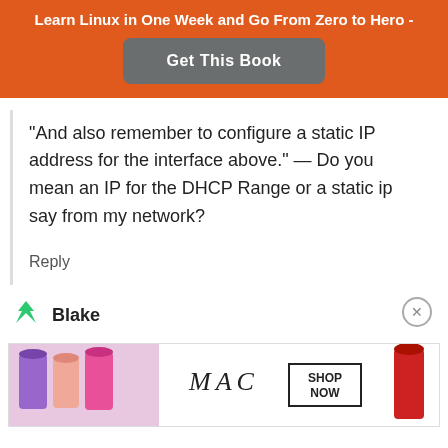Learn Linux in One Week and Go From Zero to Hero -
Get This Book
“And also remember to configure a static IP address for the interface above.” — Do you mean an IP for the DHCP Range or a static ip say from my network?
Reply
Blake
[Figure (photo): MAC cosmetics advertisement showing lipsticks with SHOP NOW button]